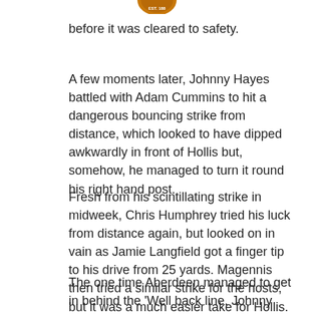[Figure (logo): Partial sports club crest/badge visible at top center of the page]
before it was cleared to safety.
A few moments later, Johnny Hayes battled with Adam Cummins to hit a dangerous bouncing strike from distance, which looked to have dipped awkwardly in front of Hollis but, somehow, he managed to turn it round his right hand post.
Fresh from his scintillating strike in midweek, Chris Humphrey tried his luck from distance again, but looked on in vain as Jamie Langfield got a finger tip to his drive from 25 yards. Magennis then tried a similar strike for the hosts, but it was a much easier take for Hollis.
The one time Aberdeen managed to get in behind the 'Well back line, Johnny Hayes fired just over the bar